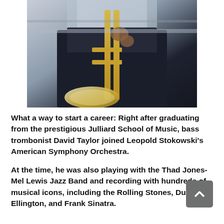[Figure (photo): A person in a dark jacket playing a brass trombone, photographed from the torso down, outdoors with a blurred background.]
What a way to start a career: Right after graduating from the prestigious Julliard School of Music, bass trombonist David Taylor joined Leopold Stokowski's American Symphony Orchestra.
At the time, he was also playing with the Thad Jones-Mel Lewis Jazz Band and recording with hundreds of musical icons, including the Rolling Stones, Duke Ellington, and Frank Sinatra.